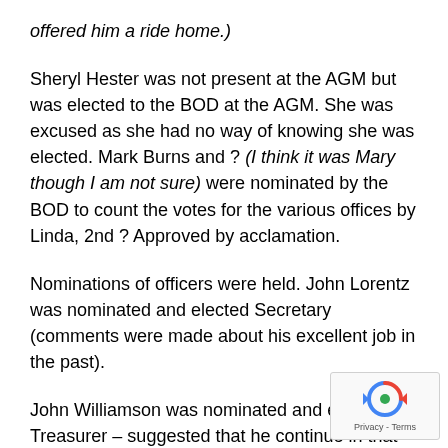offered him a ride home.)
Sheryl Hester was not present at the AGM but was elected to the BOD at the AGM. She was excused as she had no way of knowing she was elected. Mark Burns and ? (I think it was Mary though I am not sure) were nominated by the BOD to count the votes for the various offices by Linda, 2nd ? Approved by acclamation.
Nominations of officers were held. John Lorentz was nominated and elected Secretary (comments were made about his excellent job in the past).
John Williamson was nominated and elected Treasurer – suggested that he continue in that